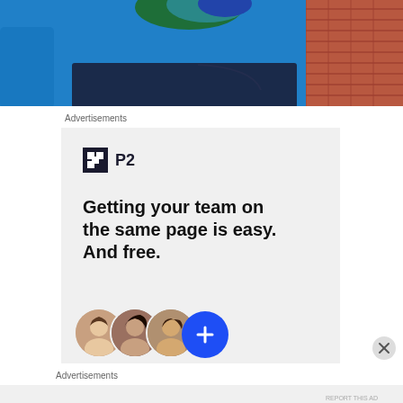[Figure (photo): Person wearing a blue sweater with a teal/green crocheted scarf, dark jeans, standing on a brick pathway. Photo cropped to show torso.]
Advertisements
[Figure (screenshot): Advertisement for P2 product. Shows P2 logo (dark square with H-like icon and P2 text), headline 'Getting your team on the same page is easy. And free.' with three person avatars and a blue plus button.]
Advertisements